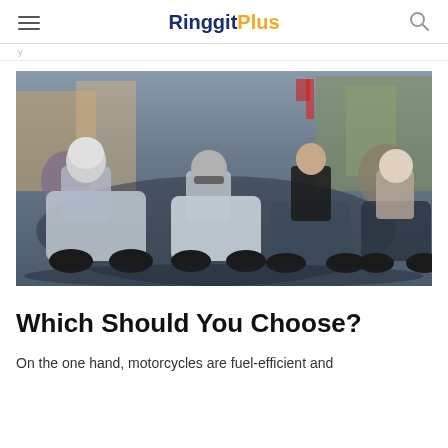RinggitPlus
[Figure (photo): A crowd of motorcyclists and scooter riders in traffic, wearing helmets, in an urban Southeast Asian street scene with colorful background]
Which Should You Choose?
On the one hand, motorcycles are fuel-efficient and